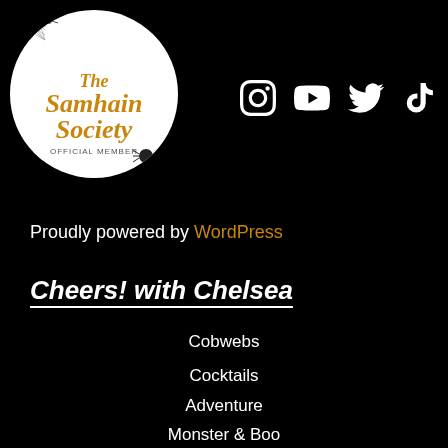[Figure (logo): The Samhain Society circular logo with white background, decorative spiders and cobweb, orange italic text reading 'The Samhain Society' with 'OFFICIAL MEMBER' below]
[Figure (infographic): Social media icons row: Instagram, YouTube, Twitter, TikTok — all white on black background]
Proudly powered by WordPress
Cheers! with Chelsea
Cobwebs
Cocktails
Adventure
Monster & Boo
Halloween
Holidays